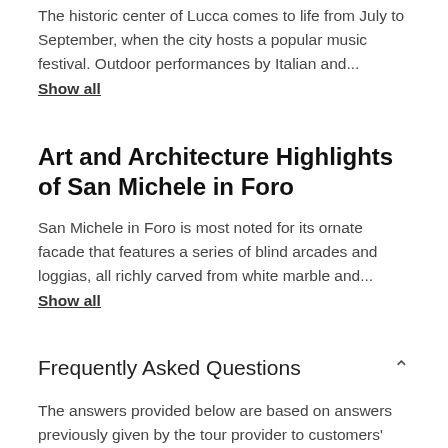The historic center of Lucca comes to life from July to September, when the city hosts a popular music festival. Outdoor performances by Italian and...
Show all
Art and Architecture Highlights of San Michele in Foro
San Michele in Foro is most noted for its ornate facade that features a series of blind arcades and loggias, all richly carved from white marble and...
Show all
Frequently Asked Questions
The answers provided below are based on answers previously given by the tour provider to customers'